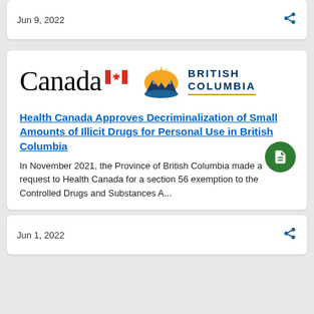Jun 9, 2022
[Figure (logo): Canada wordmark with maple leaf and British Columbia provincial logo side by side]
Health Canada Approves Decriminalization of Small Amounts of Illicit Drugs for Personal Use in British Columbia
In November 2021, the Province of British Columbia made a request to Health Canada for a section 56 exemption to the Controlled Drugs and Substances A...
Jun 1, 2022